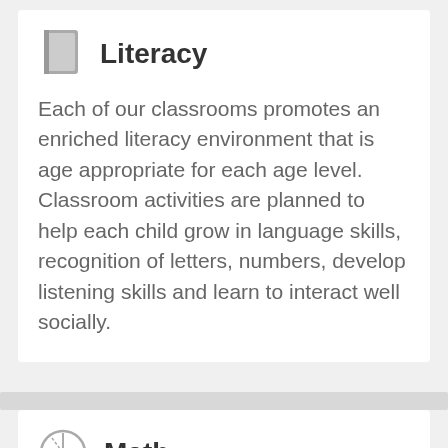Literacy
Each of our classrooms promotes an enriched literacy environment that is age appropriate for each age level. Classroom activities are planned to help each child grow in language skills, recognition of letters, numbers, develop listening skills and learn to interact well socially.
Math
Each of our classrooms teach math skills from counting, to adding, subtracting, recognition